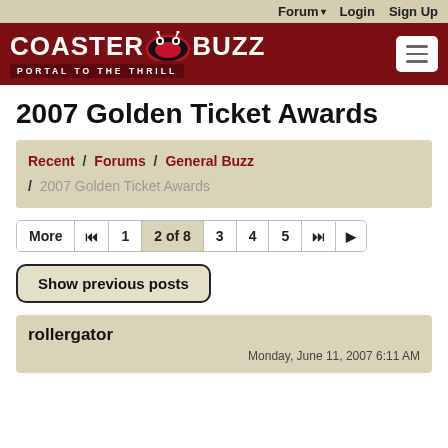Forum  Login  Sign Up
[Figure (logo): CoasterBuzz logo with red oval and tagline PORTAL TO THE THRILL on dark red banner]
2007 Golden Ticket Awards
Recent / Forums / General Buzz / 2007 Golden Ticket Awards
More  |◀  1  2 of 8  3  4  5  ▶▶  ▶|
Show previous posts
rollergator
Monday, June 11, 2007 6:11 AM